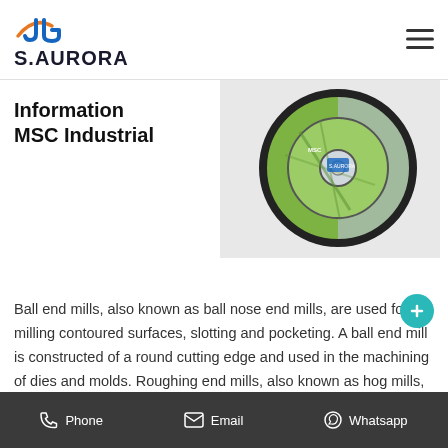S.AURORA
[Figure (photo): Photo of a green grinding/cutting disc (abrasive wheel) with metallic center hub, shown at an angle on a light background.]
Information MSC Industrial
Ball end mills, also known as ball nose end mills, are used for milling contoured surfaces, slotting and pocketing. A ball end mill is constructed of a round cutting edge and used in the machining of dies and molds. Roughing end mills, also known as hog mills, are used to quickly remove large amounts of material during heavier operations.
Phone   Email   Whatsapp